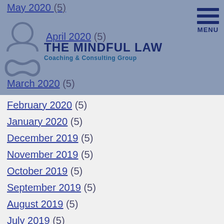The Mindful Law Coaching & Consulting Group — site header with logo and MENU button
May 2020 (5)
April 2020 (5)
March 2020 (5)
February 2020 (5)
January 2020 (5)
December 2019 (5)
November 2019 (5)
October 2019 (5)
September 2019 (5)
August 2019 (5)
July 2019 (5)
June 2019 (5)
May 2019 (5)
April 2019 (5)